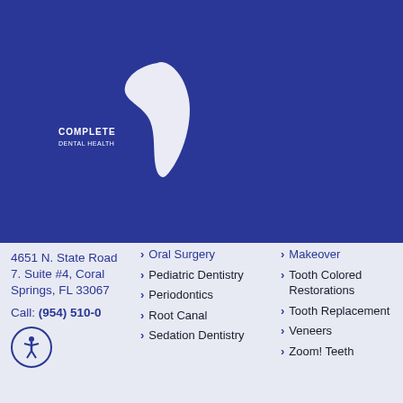[Figure (logo): Complete Dental Health logo with white swoosh/tooth icon on blue background]
4651 N. State Road 7. Suite #4, Coral Springs, FL 33067
Call: (954) 510-0
Oral Surgery
Pediatric Dentistry
Periodontics
Root Canal
Sedation Dentistry
Makeover
Tooth Colored Restorations
Tooth Replacement
Veneers
Zoom! Teeth